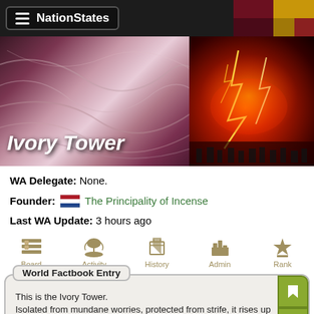NationStates
[Figure (screenshot): Banner for Ivory Tower region with marble-like pink/purple swirling background on left and lightning storm on right]
Ivory Tower
WA Delegate: None.
Founder: The Principality of Incense
Last WA Update: 3 hours ago
Board
Activity
History
Admin
Rank
World Factbook Entry
This is the Ivory Tower.
Isolated from mundane worries, protected from strife, it rises up out of the Forest of Dream. Birds travel to and fro from south of the Vixen Valley and beyond the Open Sea.

Inside the Tower, there is a serene tranquility.
Be welcome to this region, even if it is only for a short time.